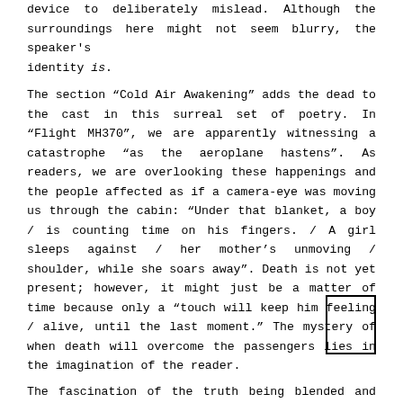device to deliberately mislead. Although the surroundings here might not seem blurry, the speaker's identity is.
The section “Cold Air Awakening” adds the dead to the cast in this surreal set of poetry. In “Flight MH370”, we are apparently witnessing a catastrophe “as the aeroplane hastens”. As readers, we are overlooking these happenings and the people affected as if a camera-eye was moving us through the cabin: “Under that blanket, a boy / is counting time on his fingers. / A girl sleeps against / her mother’s unmoving / shoulder, while she soars away”. Death is not yet present; however, it might just be a matter of time because only a “touch will keep him feeling / alive, until the last moment.” The mystery of when death will overcome the passengers lies in the imagination of the reader.
The fascination of the truth being blended and obscured